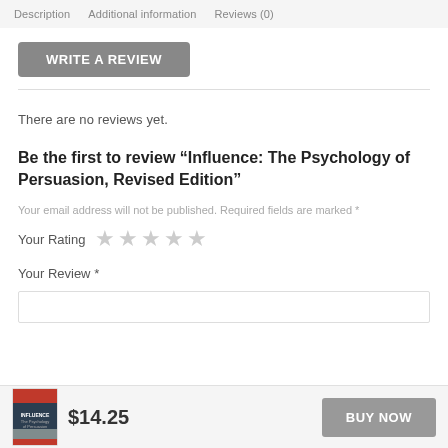Description   Additional information   Reviews (0)
WRITE A REVIEW
There are no reviews yet.
Be the first to review “Influence: The Psychology of Persuasion, Revised Edition”
Your email address will not be published. Required fields are marked *
Your Rating ★★★★★
Your Review *
$14.25
BUY NOW